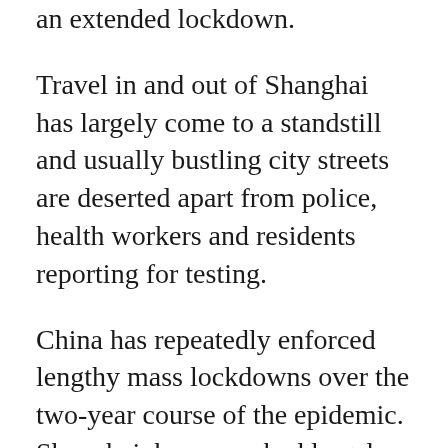an extended lockdown.
Travel in and out of Shanghai has largely come to a standstill and usually bustling city streets are deserted apart from police, health workers and residents reporting for testing.
China has repeatedly enforced lengthy mass lockdowns over the two-year course of the epidemic. Shanghai, however, had largely escaped the most onerous measures under China’s “zero-COVID” strategy that aims to isolate every infected person.
Home to many of China’s wealthiest, best